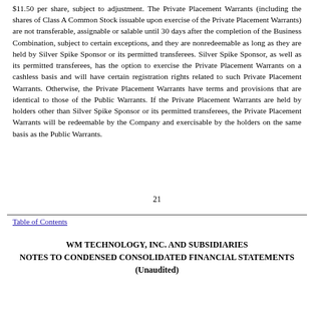$11.50 per share, subject to adjustment. The Private Placement Warrants (including the shares of Class A Common Stock issuable upon exercise of the Private Placement Warrants) are not transferable, assignable or salable until 30 days after the completion of the Business Combination, subject to certain exceptions, and they are nonredeemable as long as they are held by Silver Spike Sponsor or its permitted transferees. Silver Spike Sponsor, as well as its permitted transferees, has the option to exercise the Private Placement Warrants on a cashless basis and will have certain registration rights related to such Private Placement Warrants. Otherwise, the Private Placement Warrants have terms and provisions that are identical to those of the Public Warrants. If the Private Placement Warrants are held by holders other than Silver Spike Sponsor or its permitted transferees, the Private Placement Warrants will be redeemable by the Company and exercisable by the holders on the same basis as the Public Warrants.
21
Table of Contents
WM TECHNOLOGY, INC. AND SUBSIDIARIES
NOTES TO CONDENSED CONSOLIDATED FINANCIAL STATEMENTS
(Unaudited)